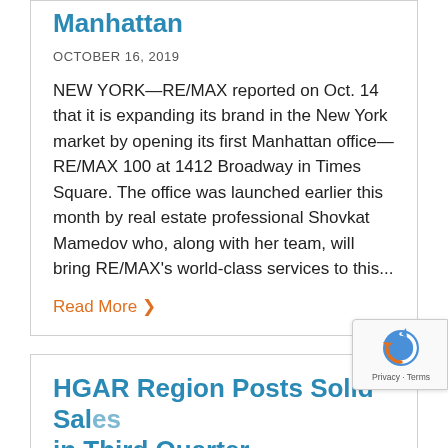Manhattan
OCTOBER 16, 2019
NEW YORK—RE/MAX reported on Oct. 14 that it is expanding its brand in the New York market by opening its first Manhattan office—RE/MAX 100 at 1412 Broadway in Times Square. The office was launched earlier this month by real estate professional Shovkat Mamedov who, along with her team, will bring RE/MAX's world-class services to this...
Read More ❯
HGAR Region Posts Solid Sales in Third Quarter
OCTOBER 7, 2019